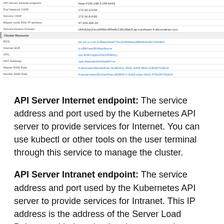| Field | Value |
| --- | --- |
| API Server Intranet endpoint | https://192.168.3.195:6443 |
| Pod Network CIDR | 172.16.3.0/16 |
| Service CIDR | 172.16.8.0/20 |
| Master node SSH IP address | 47.254.200.20 |
| Service Access Domain | c94c62ec21cc34f50c495e8c1181d5eb5.ap-southeast-5.alicontainer.com |
| Cluster Resource |  |
| RDS | lds:for:cn:rds:a:08add3ee073cc249b5de1d86b8dd181742da60 |
| Internet ELB | b:c8fb7aac8044pp9ceca |
| VPC | rpc:4040:rtpjbrc01b1f59941y |
| NAT Gateway | nptv:9aee4e2r0e5be60Ynz |
| Master RAM Role | KubernetesMasterRole:4b3600c1-4501-4444-95af-018c50723bd3 |
| Worker RAM Role | KubeternetesWorkerRole:d306007c-0a63:a3ee-9b31-070d30735d03 |
API Server Internet endpoint: The service address and port used by the Kubernetes API server to provide services for Internet. You can use kubectl or other tools on the user terminal through this service to manage the cluster.
API Server Intranet endpoint: The service address and port used by the Kubernetes API server to provide services for Intranet. This IP address is the address of the Server Load Balancer with three backend master nodes providing services.